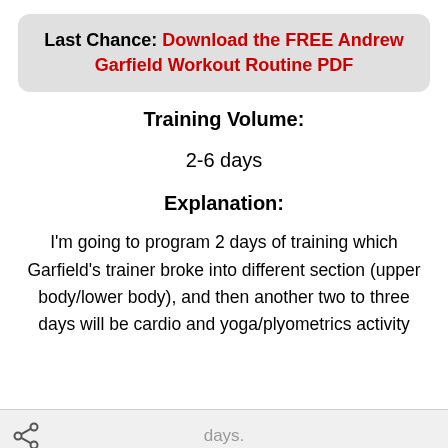Last Chance: Download the FREE Andrew Garfield Workout Routine PDF
Training Volume:
2-6 days
Explanation:
I'm going to program 2 days of training which Garfield's trainer broke into different section (upper body/lower body), and then another two to three days will be cardio and yoga/plyometrics activity days.
days.